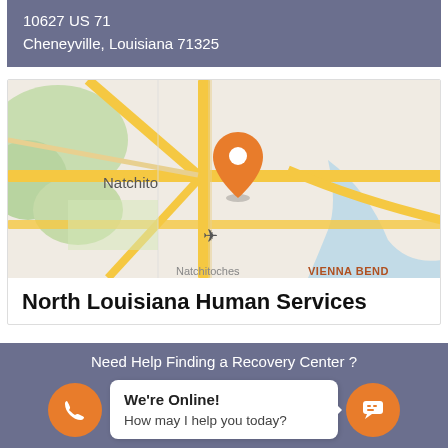10627 US 71
Cheneyville, Louisiana 71325
[Figure (map): Google Maps screenshot showing Natchitoches, Louisiana area with an orange location pin marker and roads. Airport symbol visible. VIENNA BEND label visible at bottom right.]
North Louisiana Human Services
Need Help Finding a Recovery Center ?
We're Online!
How may I help you today?